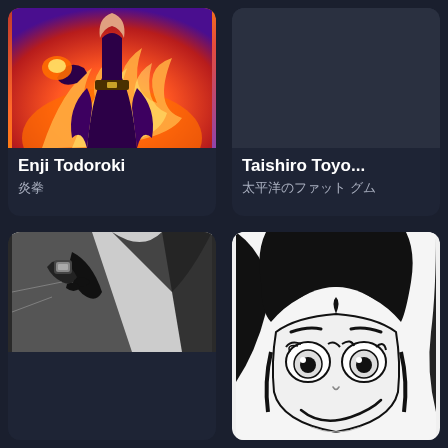[Figure (illustration): Anime illustration of Enji Todoroki character with fire/flame background in red and orange colors]
Enji Todoroki
炎拳
[Figure (illustration): Dark/empty card area for Taishiro Toyo character]
Taishiro Toyo...
太平洋のファット グム
[Figure (illustration): Black and white manga illustration showing a hand/action scene]
[Figure (illustration): Black and white manga illustration of a female character's face with wide eyes and a smile]